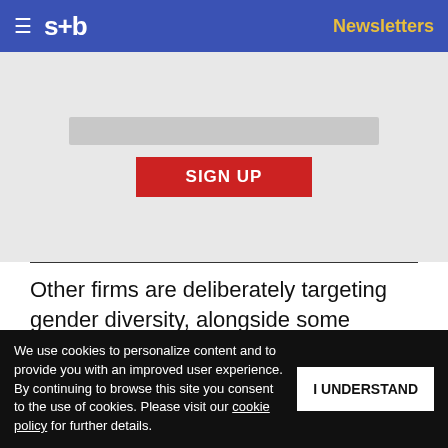s+b | Newsletters
[Figure (screenshot): Newsletter sign-up section with an input field and a red SIGN UP button on a light gray background]
Other firms are deliberately targeting gender diversity, alongside some diversity of nationality, as a tool of corporate development, something that was truly rare in past decades. [partial text visible] ance Japan. [partial text visible] t a strong
Get s+b's award-winning newsletter delivered to your inbox.
We use cookies to personalize content and to provide you with an improved user experience. By continuing to browse this site you consent to the use of cookies. Please visit our cookie policy for further details.